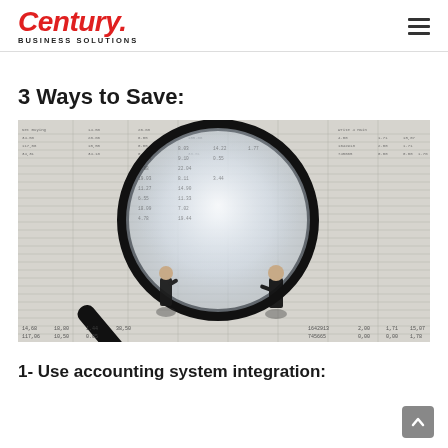Century Business Solutions
3 Ways to Save:
[Figure (photo): Two miniature business figures standing before a large magnifying glass over financial spreadsheet data with numbers and rows]
1- Use accounting system integration: